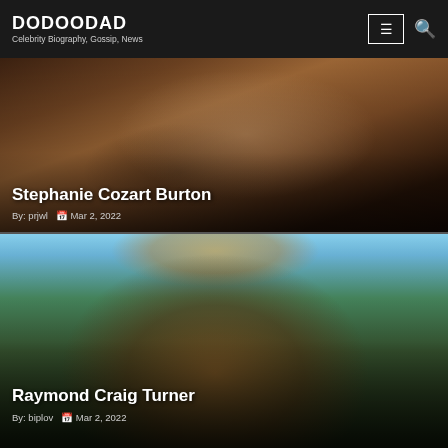DODOODAD — Celebrity Biography, Gossip, News
[Figure (photo): Close-up photo of Stephanie Cozart Burton, a woman with wavy hair, wearing a dark jacket]
Stephanie Cozart Burton
By: prjwl  Mar 2, 2022
[Figure (photo): Photo of Raymond Craig Turner, a man wearing a tan/orange hat and dark shirt, smiling outdoors with trees and sky in the background]
Raymond Craig Turner
By: biplov  Mar 2, 2022